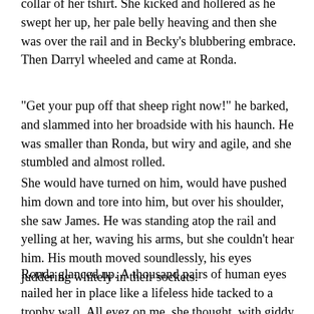collar of her tshirt. She kicked and hollered as he swept her up, her pale belly heaving and then she was over the rail and in Becky's blubbering embrace. Then Darryl wheeled and came at Ronda.
“Get your pup off that sheep right now!” he barked, and slammed into her broadside with his haunch. He was smaller than Ronda, but wiry and agile, and she stumbled and almost rolled.
She would have turned on him, would have pushed him down and tore into him, but over his shoulder, she saw James. He was standing atop the rail and yelling at her, waving his arms, but she couldn’t hear him. His mouth moved soundlessly, his eyes juddering whitely in their sockets.
Ronda glanced up. A thousand pairs of human eyes nailed her in place like a lifeless hide tacked to a trophy wall. All eyez on me, she thought, with giddy rage. And Lulu. Dammit.